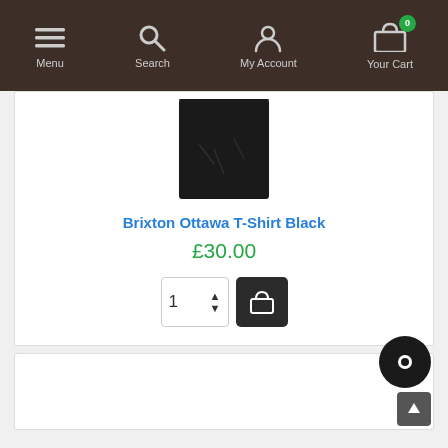Menu | Search | My Account | Your Cart (0)
[Figure (photo): Black folded t-shirt product photo on white background]
Brixton Ottawa T-Shirt Black
£30.00
[Figure (screenshot): Quantity selector showing 1 with up/down arrows and black add-to-cart bag button]
[Figure (photo): Second product card partially visible at bottom with chat widget and scroll-to-top button]